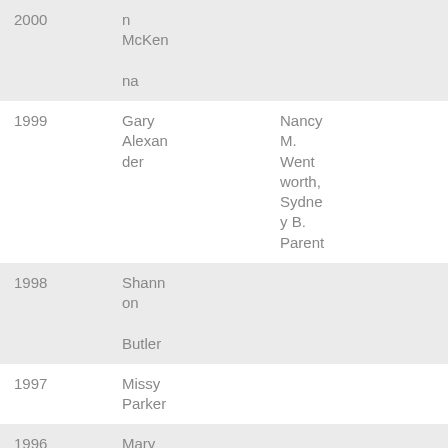| 2000 | n McKenna |  |
| 1999 | Gary Alexander | Nancy M. Wentworth, Sydney B. Parent |
| 1998 | Shannon Butler |  |
| 1997 | Missy Parker |  |
| 1996 | Mary Lou |  |